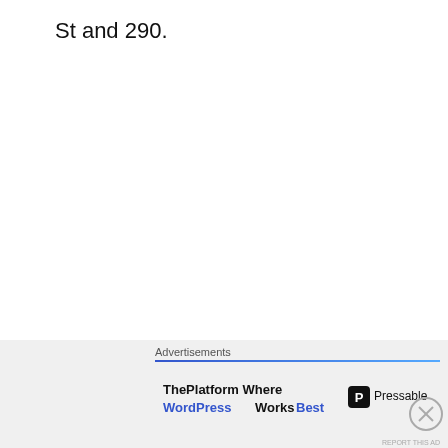St and 290.
Advertisements
[Figure (screenshot): DuckDuckGo advertisement: orange background with white bold text 'Search, browse, and email with more privacy.' and button 'All in One Free App', with a smartphone showing the DuckDuckGo logo duck icon.]
Advertisements
[Figure (screenshot): Pressable advertisement: 'ThePlatform Where WordPress Works Best' with Pressable logo on right, blue underline at top.]